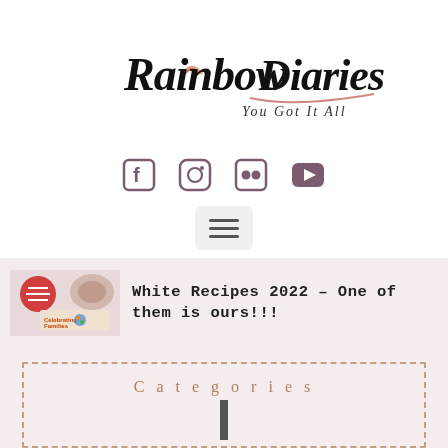[Figure (logo): Rainbow Diaries - You Got It All logo in cursive script with small rainbow icon]
[Figure (infographic): Social media icons: Facebook, Instagram, Flickr, YouTube in mauve/purple]
[Figure (infographic): Hamburger menu button with three horizontal lines on light gray background]
[Figure (photo): Article thumbnail showing recipe/celebration image]
White Recipes 2022 – One of them is ours!!!
Categories
Travel